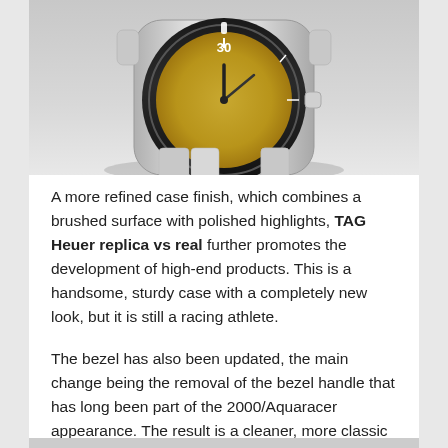[Figure (photo): Close-up photograph of a TAG Heuer watch showing the bezel with '30' marker, polished silver case, against a light grey background. Only the top portion of the watch is visible.]
A more refined case finish, which combines a brushed surface with polished highlights, TAG Heuer replica vs real further promotes the development of high-end products. This is a handsome, sturdy case with a completely new look, but it is still a racing athlete.
The bezel has also been updated, the main change being the removal of the bezel handle that has long been part of the 2000/Aquaracer appearance. The result is a cleaner, more classic bezel.